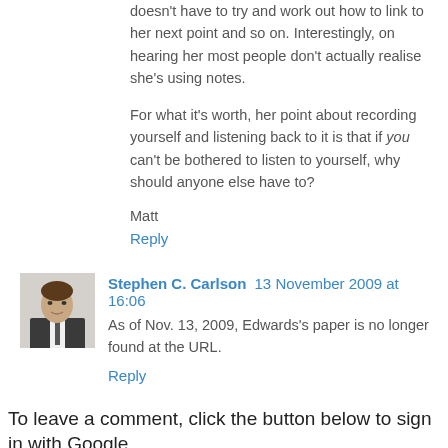doesn't have to try and work out how to link to her next point and so on. Interestingly, on hearing her most people don't actually realise she's using notes.
For what it's worth, her point about recording yourself and listening back to it is that if you can't be bothered to listen to yourself, why should anyone else have to?
Matt
Reply
Stephen C. Carlson  13 November 2009 at 16:06
As of Nov. 13, 2009, Edwards's paper is no longer found at the URL.
Reply
To leave a comment, click the button below to sign in with Google.
SIGN IN WITH GOOGLE